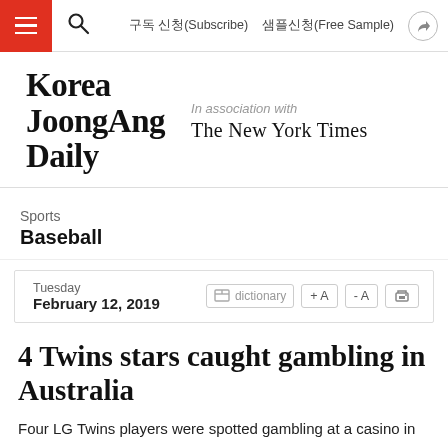구독 신청(Subscribe)   샘플신청(Free Sample)
[Figure (logo): Korea JoongAng Daily logo with 'In association with The New York Times']
Sports
Baseball
Tuesday
February 12, 2019
4 Twins stars caught gambling in Australia
Four LG Twins players were spotted gambling at a casino in